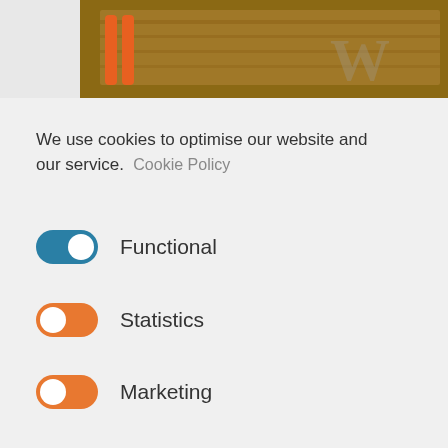[Figure (photo): Top portion of a workshop/tools image with orange handles and a wooden board with a W logo watermark]
We use cookies to optimise our website and our service.  Cookie Policy
Functional (toggle on, blue)
Statistics (toggle on, orange)
Marketing (toggle on, orange)
Accept all
Save preferences
[Figure (photo): Bottom portion of a workshop/technical image]